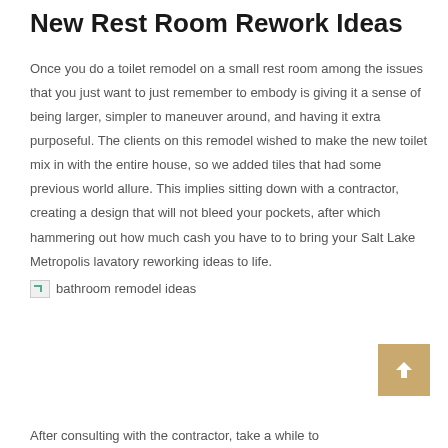New Rest Room Rework Ideas
Once you do a toilet remodel on a small rest room among the issues that you just want to just remember to embody is giving it a sense of being larger, simpler to maneuver around, and having it extra purposeful. The clients on this remodel wished to make the new toilet mix in with the entire house, so we added tiles that had some previous world allure. This implies sitting down with a contractor, creating a design that will not bleed your pockets, after which hammering out how much cash you have to to bring your Salt Lake Metropolis lavatory reworking ideas to life.
[Figure (photo): bathroom remodel ideas image placeholder with alt text 'bathroom remodel ideas']
After consulting with the contractor, take a while to